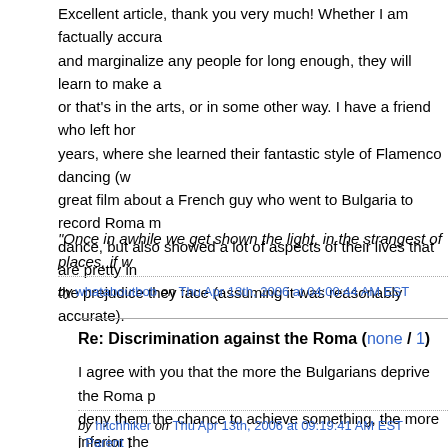Excellent article, thank you very much! Whether I am factually accura and marginalize any people for long enough, they will learn to make a or that's in the arts, or in some other way. I have a friend who left hor years, where she learned their fantastic style of Flamenco dancing (w great film about a French guy who went to Bulgaria to record Roma m dance, but also showed a lot of aspects of their lives that are pretty in the prejudice they face (assuming it was reasonably accurate).
"Once in awhile we get shown the light, in the strangest of places, if w
by whataboutbob on Thu Apr 13th, 2006 at 04:00:44 AM EST
Re: Discrimination against the Roma (none / 1)
I agree with you that the more the Bulgarians deprive the Roma p deny them the chance to achieve something, the more inferior the So, eventually they end up as beggars on the streets or criminals, And this will repeat again and again, because it is a vicious circle.
by hitchhiker on Thu Apr 13th, 2006 at 09:19:41 AM EST
[ Parent ]